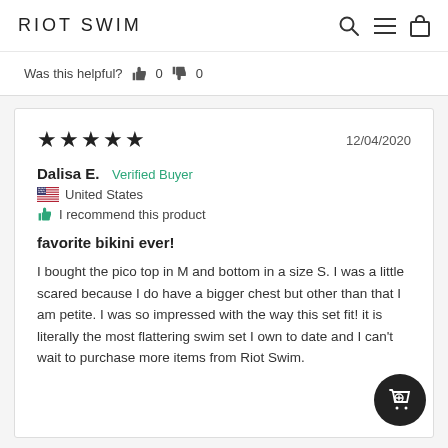RIOT SWIM
Was this helpful? 👍 0 👎 0
★★★★★  12/04/2020
Dalisa E. Verified Buyer
🇺🇸 United States
👍 I recommend this product
favorite bikini ever!

I bought the pico top in M and bottom in a size S. I was a little scared because I do have a bigger chest but other than that I am petite. I was so impressed with the way this set fit! it is literally the most flattering swim set I own to date and I can't wait to purchase more items from Riot Swim.